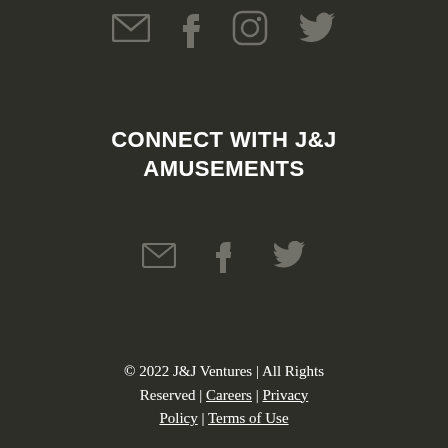[Figure (illustration): Social media icons row: email/envelope, Facebook, Instagram, Twitter - shown in muted gray at top of page]
CONNECT WITH J&J AMUSEMENTS
[Figure (illustration): Social media icons row: email/envelope, Facebook, Twitter - shown in muted gray below the title]
© 2022 J&J Ventures | All Rights Reserved | Careers | Privacy Policy | Terms of Use